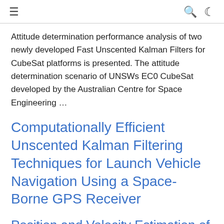≡   🔍 🌙
Attitude determination performance analysis of two newly developed Fast Unscented Kalman Filters for CubeSat platforms is presented. The attitude determination scenario of UNSWs EC0 CubeSat developed by the Australian Centre for Space Engineering …
Computationally Efficient Unscented Kalman Filtering Techniques for Launch Vehicle Navigation Using a Space-Borne GPS Receiver
Position and Velocity Estimation of Re-Entry Vehicles Using Fast Unscented Kalman Filters